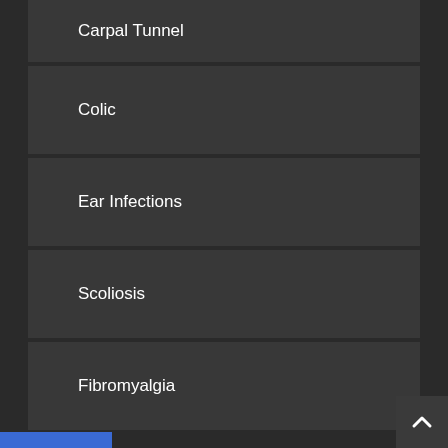Carpal Tunnel
Colic
Ear Infections
Scoliosis
Fibromyalgia
Headaches
Neck Pain
Pinched Nerve
Pregnancy